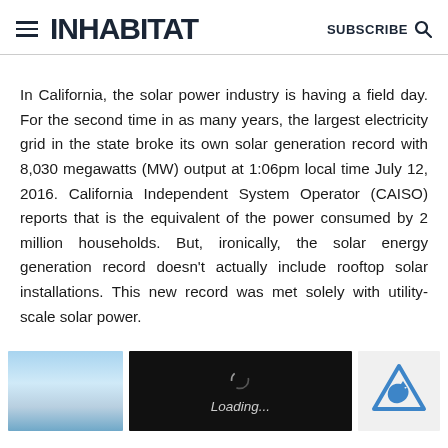≡ INHABITAT   SUBSCRIBE 🔍
In California, the solar power industry is having a field day. For the second time in as many years, the largest electricity grid in the state broke its own solar generation record with 8,030 megawatts (MW) output at 1:06pm local time July 12, 2016. California Independent System Operator (CAISO) reports that is the equivalent of the power consumed by 2 million households. But, ironically, the solar energy generation record doesn't actually include rooftop solar installations. This new record was met solely with utility-scale solar power.
[Figure (photo): Three thumbnail images at bottom: a sky/solar photo on left, a black loading screen with spinner in center, and a partial blue image on right with reCAPTCHA logo.]